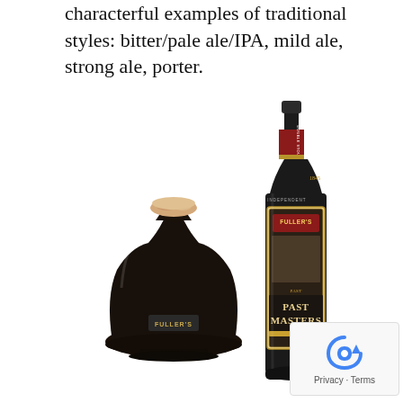characterful examples of traditional styles: bitter/pale ale/IPA, mild ale, strong ale, porter.
[Figure (photo): A Fuller's Past Masters Double Stout beer bottle next to a Fuller's branded tulip glass filled with dark stout and a tan foam head. The bottle has a dark label reading 'PAST MASTERS' and a red band near the top reading 'DOUBLE STOUT'.]